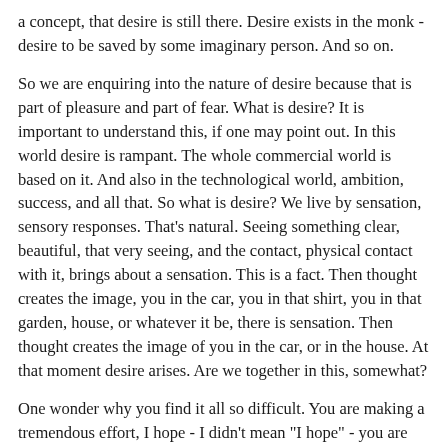a concept, that desire is still there. Desire exists in the monk - desire to be saved by some imaginary person. And so on.
So we are enquiring into the nature of desire because that is part of pleasure and part of fear. What is desire? It is important to understand this, if one may point out. In this world desire is rampant. The whole commercial world is based on it. And also in the technological world, ambition, success, and all that. So what is desire? We live by sensation, sensory responses. That's natural. Seeing something clear, beautiful, that very seeing, and the contact, physical contact with it, brings about a sensation. This is a fact. Then thought creates the image, you in the car, you in that shirt, you in that garden, house, or whatever it be, there is sensation. Then thought creates the image of you in the car, or in the house. At that moment desire arises. Are we together in this, somewhat?
One wonder why you find it all so difficult. You are making a tremendous effort, I hope - I didn't mean "I hope" - you are making effort to understand the speaker. Don't, if one may say so. Understand your own desire. Look at it. Desire to be beautiful, desire to be tall, desire to be successful, desire to be noble, desire to find out if there is god - you know all the whole business of desire. The objects of desire may vary, but it is still desire.
So we are saying, sensation is natural, is obviously a fact, and when